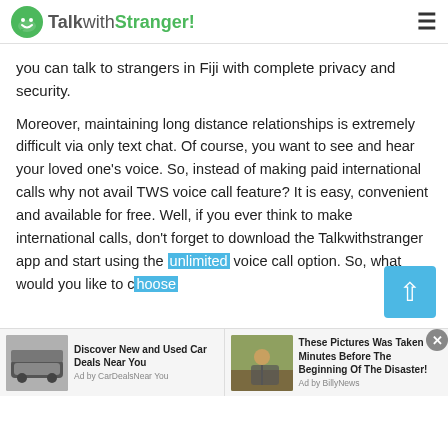TalkwithStranger!
you can talk to strangers in Fiji with complete privacy and security.
Moreover, maintaining long distance relationships is extremely difficult via only text chat. Of course, you want to see and hear your loved one's voice. So, instead of making paid international calls why not avail TWS voice call feature? It is easy, convenient and available for free. Well, if you ever think to make international calls, don't forget to download the Talkwithstranger app and start using the unlimited voice call option. So, what would you like to choose
[Figure (screenshot): Ad banner: 'Discover New and Used Car Deals Near You' by CarDealsNear You, and 'These Pictures Was Taken Minutes Before The Beginning Of The Disaster!' by BillyNews, with car and outdoor images.]